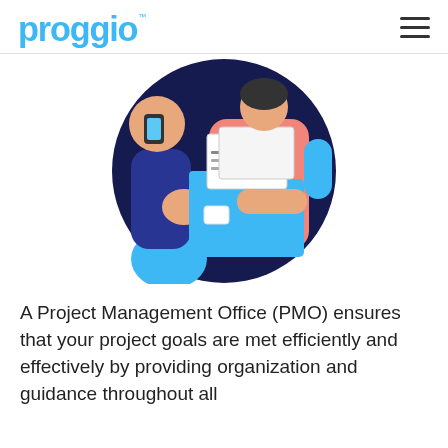proggio
[Figure (illustration): Circular illustration with dark navy background showing two people exchanging documents/folders. A person in a pink/salmon outfit holds a blue file folder with papers, while another person in the background also appears to be handing over documents. The illustration is flat/vector style.]
A Project Management Office (PMO) ensures that your project goals are met efficiently and effectively by providing organization and guidance throughout all